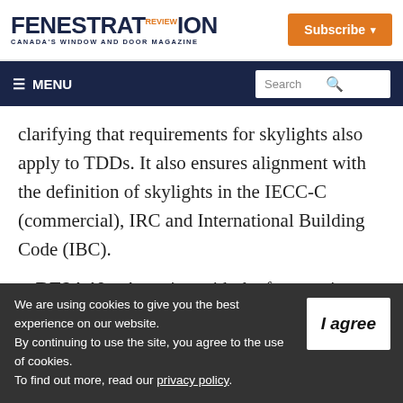FENESTRATION REVIEW - CANADA'S WINDOW AND DOOR MAGAZINE | Subscribe
≡ MENU | Search
clarifying that requirements for skylights also apply to TDDs. It also ensures alignment with the definition of skylights in the IECC-C (commercial), IRC and International Building Code (IBC).
RE24-19 – Agreeing with the fenestration
We are using cookies to give you the best experience on our website.
By continuing to use the site, you agree to the use of cookies.
To find out more, read our privacy policy.